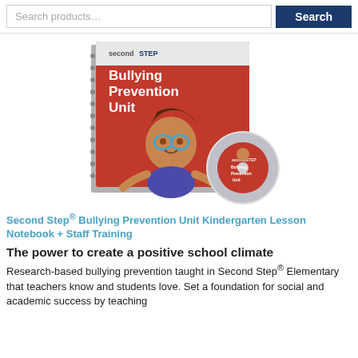Search products...  Search
[Figure (photo): Second Step Bullying Prevention Unit spiral-bound lesson notebook with a red cover showing an animated child character wearing glasses, alongside a CD disc version of the same product.]
Second Step® Bullying Prevention Unit Kindergarten Lesson Notebook + Staff Training
The power to create a positive school climate
Research-based bullying prevention taught in Second Step® Elementary that teachers know and students love. Set a foundation for social and academic success by teaching